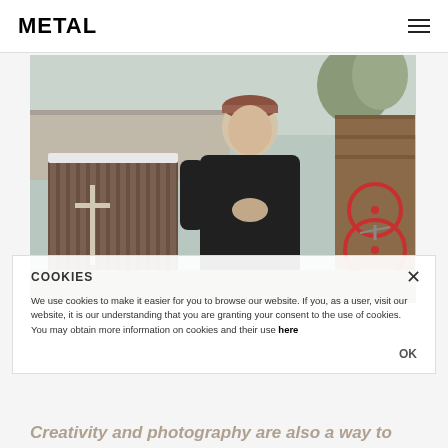METAL
[Figure (photo): Young man in black hoodie and red cap standing outdoors near a wooden fence with a cross marker, bicycles visible to the right, low buildings in background]
COOKIES
We use cookies to make it easier for you to browse our website. If you, as a user, visit our website, it is our understanding that you are granting your consent to the use of cookies. You may obtain more information on cookies and their use here
Creativity and photography are also a way to